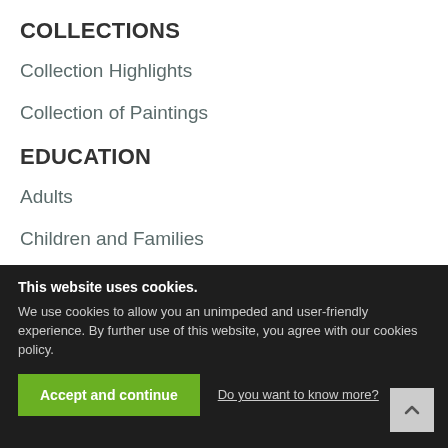COLLECTIONS
Collection Highlights
Collection of Paintings
EDUCATION
Adults
Children and Families
Schools
Tourists
Special Needs
ACTIVITIES
This website uses cookies. We use cookies to allow you an unimpeded and user-friendly experience. By further use of this website, you agree with our cookies policy.
Accept and continue
Do you want to know more?